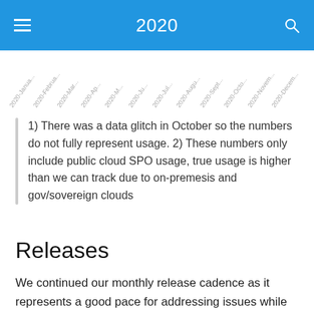2020
[Figure (other): Partial x-axis labels for a 2020 monthly chart, showing rotated month labels: 2020-January, 2020-February, 2020-March, 2020-April, 2020-May, 2020-June, 2020-July, 2020-August, 2020-September, 2020-October, 2020-November, 2020-December]
1) There was a data glitch in October so the numbers do not fully represent usage. 2) These numbers only include public cloud SPO usage, true usage is higher than we can track due to on-premesis and gov/sovereign clouds
Releases
We continued our monthly release cadence as it represents a good pace for addressing issues while not expecting folks to update too often and keeping each update to a reasonable size. All changes can be tracked in our change log, updated with each release. You can check our